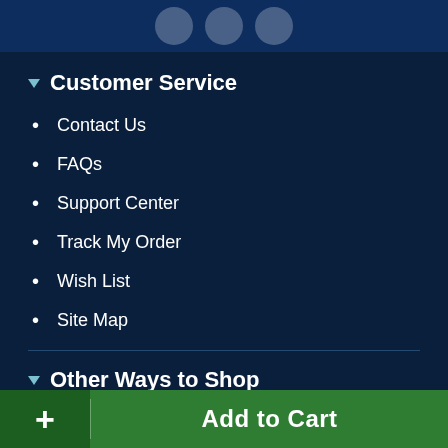[Figure (illustration): Dark navy top banner with three circular social media icon placeholders (partially visible, cropped at top)]
Customer Service
Contact Us
FAQs
Support Center
Track My Order
Wish List
Site Map
Other Ways to Shop
Clearance Center
Rebates
+ Add to Cart